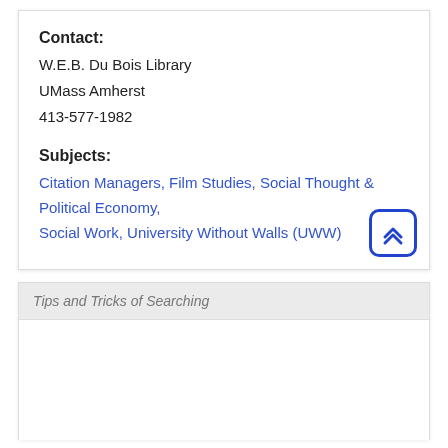Contact:
W.E.B. Du Bois Library
UMass Amherst
413-577-1982
Subjects:
Citation Managers, Film Studies, Social Thought & Political Economy, Social Work, University Without Walls (UWW)
Tips and Tricks of Searching